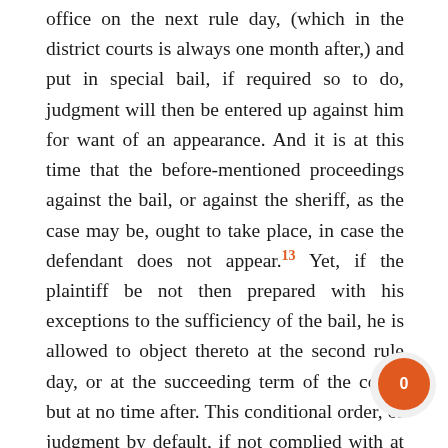office on the next rule day, (which in the district courts is always one month after,) and put in special bail, if required so to do, judgment will then be entered up against him for want of an appearance. And it is at this time that the before-mentioned proceedings against the bail, or against the sheriff, as the case may be, ought to take place, in case the defendant does not appear.13 Yet, if the plaintiff be not then prepared with his exceptions to the sufficiency of the bail, he is allowed to object thereto at the second rule day, or at the succeeding term of the court, but at no time after. This conditional order, or judgment by default, if not complied with at the next rule day, (and the judgment set aside by the defendant's appearing and putting in sufficient bail to the action, if bail be required,) is then